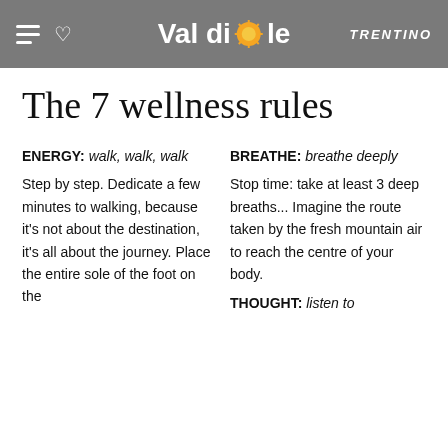Val di Sole | Trentino
The 7 wellness rules
ENERGY: walk, walk, walk
Step by step. Dedicate a few minutes to walking, because it's not about the destination, it's all about the journey. Place the entire sole of the foot on the ground for the...
BREATHE: breathe deeply
Stop time: take at least 3 deep breaths... Imagine the route taken by the fresh mountain air to reach the centre of your body.
THOUGHT: listen to